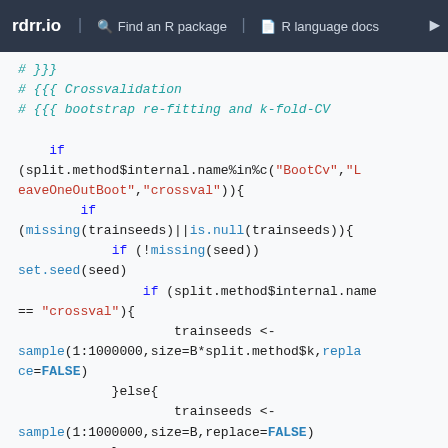rdrr.io   Find an R package   R language docs
[Figure (screenshot): R code snippet showing cross-validation logic with bootstrap re-fitting and k-fold-CV conditional statements]